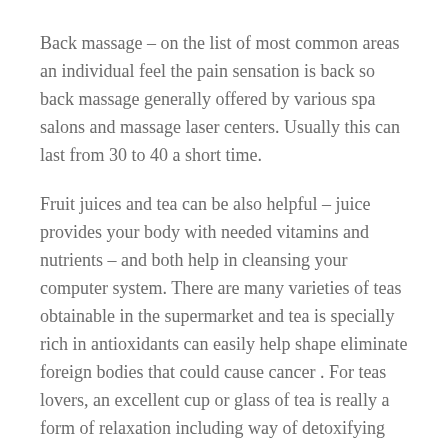Back massage – on the list of most common areas an individual feel the pain sensation is back so back massage generally offered by various spa salons and massage laser centers. Usually this can last from 30 to 40 a short time.
Fruit juices and tea can be also helpful – juice provides your body with needed vitamins and nutrients – and both help in cleansing your computer system. There are many varieties of teas obtainable in the supermarket and tea is specially rich in antioxidants can easily help shape eliminate foreign bodies that could cause cancer . For teas lovers, an excellent cup or glass of tea is really a form of relaxation including way of detoxifying the particular body all rolled into an.
The Aires massage chair is an effective accent chair for